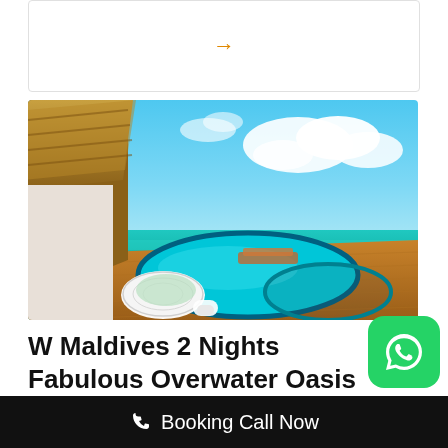[Figure (other): Card with orange right arrow icon]
[Figure (photo): Tropical overwater villa with infinity pool, thatched roof bungalow, white wicker lounger, wooden deck extending over crystal clear turquoise ocean under bright blue sky with clouds — Maldives resort]
W Maldives 2 Nights Fabulous Overwater Oasis 2 Nights Wonderful Beach
Booking Call Now